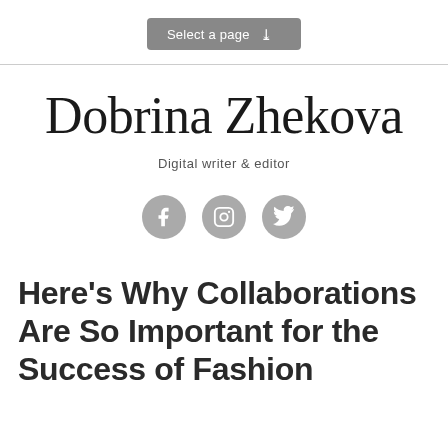Select a page
Dobrina Zhekova
Digital writer & editor
[Figure (illustration): Three circular grey social media icon buttons: Facebook (f), Instagram (camera), Twitter (bird)]
Here’s Why Collaborations Are So Important for the Success of Fashion